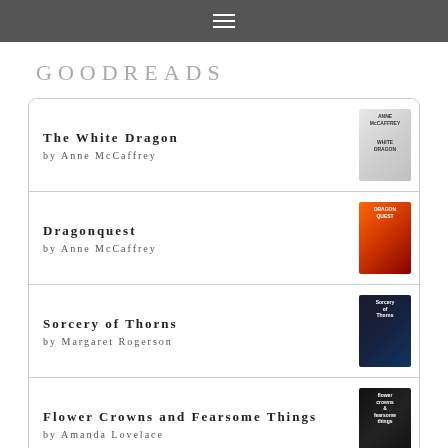☰
GOODREADS
The White Dragon
by Anne McCaffrey
Dragonquest
by Anne McCaffrey
Sorcery of Thorns
by Margaret Rogerson
Flower Crowns and Fearsome Things
by Amanda Lovelace
The Untold Story